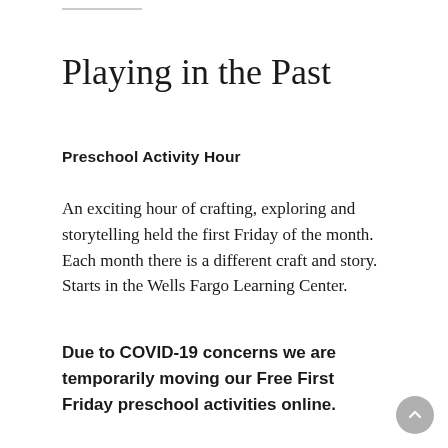Playing in the Past
Preschool Activity Hour
An exciting hour of crafting, exploring and storytelling held the first Friday of the month. Each month there is a different craft and story. Starts in the Wells Fargo Learning Center.
Due to COVID-19 concerns we are temporarily moving our Free First Friday preschool activities online.